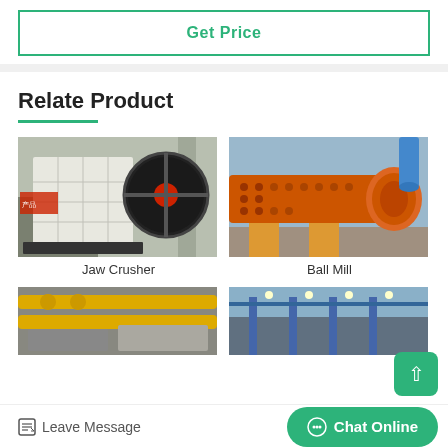Get Price
Relate Product
[Figure (photo): Jaw Crusher - large white industrial jaw crusher machine in a factory setting with a large black flywheel]
Jaw Crusher
[Figure (photo): Ball Mill - large orange cylindrical ball mill machine in industrial setting]
Ball Mill
[Figure (photo): Industrial equipment with yellow pipes and cylindrical tanks]
[Figure (photo): Factory interior with blue steel structure]
Leave Message
Chat Online